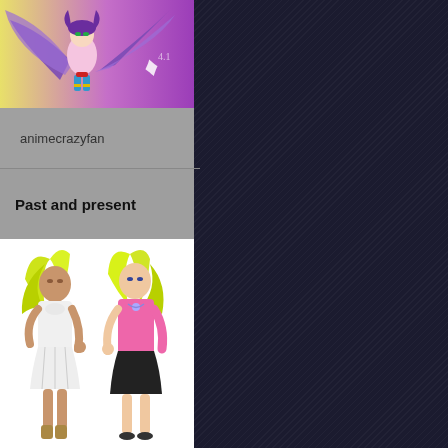[Figure (illustration): Anime-style illustration of a purple winged fairy/magical girl character with blue boots and gold accents, on a yellow-to-purple gradient background with a decorative symbol]
animecrazyfan
Past and present
[Figure (illustration): Two anime-style girls with bright yellow/green hair on white background. Left figure wears a white dress, right figure wears a pink long-sleeve top and black skirt]